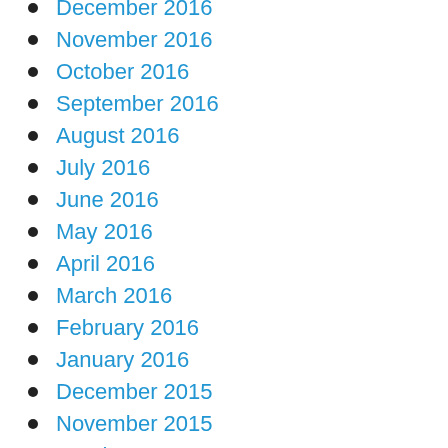December 2016
November 2016
October 2016
September 2016
August 2016
July 2016
June 2016
May 2016
April 2016
March 2016
February 2016
January 2016
December 2015
November 2015
October 2015
September 2015
August 2015